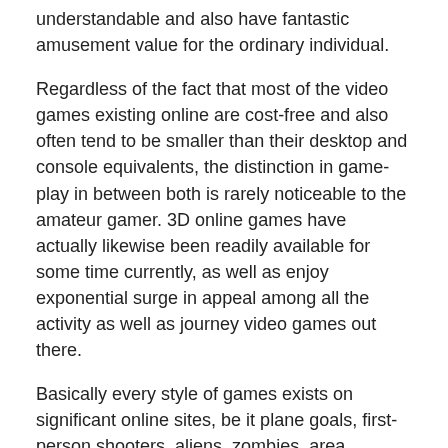understandable and also have fantastic amusement value for the ordinary individual.
Regardless of the fact that most of the video games existing online are cost-free and also often tend to be smaller than their desktop and console equivalents, the distinction in game-play in between both is rarely noticeable to the amateur gamer. 3D online games have actually likewise been readily available for some time currently, as well as enjoy exponential surge in appeal among all the activity as well as journey video games out there.
Basically every style of games exists on significant online sites, be it plane goals, first-person shooters, aliens, zombies, area, celebrities, auto racing, food preparation, fashion, layout, and so on. As they claim, call it, as well as they'll have it. Card video games and also online casino video games are opponents for the top area when it involves interest, as well as the listing of titles readily available would certainly take a lot of time to create right here, should we bother trying. Make sure